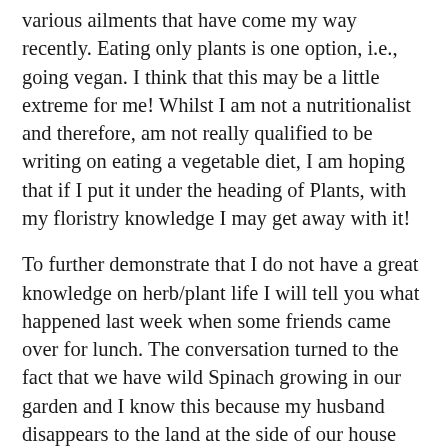various ailments that have come my way recently. Eating only plants is one option, i.e., going vegan. I think that this may be a little extreme for me! Whilst I am not a nutritionalist and therefore, am not really qualified to be writing on eating a vegetable diet, I am hoping that if I put it under the heading of Plants, with my floristry knowledge I may get away with it!

To further demonstrate that I do not have a great knowledge on herb/plant life I will tell you what happened last week when some friends came over for lunch. The conversation turned to the fact that we have wild Spinach growing in our garden and I know this because my husband disappears to the land at the side of our house and comes back with handfuls of leaves to be chopped up and added to our tortilla or whatever pot is on the go at the time. Looking into wild Spinach I see that it is high in vitamins A & C, riboflavin, calcium, potassium, magnesium, zinc, manganese and copper and all growing for free on our land! One friend mentioned that you can get wild Rocket growing here also and we all